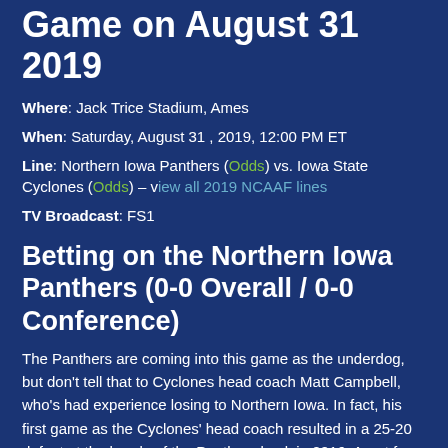Game on August 31 2019
Where: Jack Trice Stadium, Ames
When: Saturday, August 31 , 2019, 12:00 PM ET
Line: Northern Iowa Panthers (Odds) vs. Iowa State Cyclones (Odds) – view all 2019 NCAAF lines
TV Broadcast: FS1
Betting on the Northern Iowa Panthers (0-0 Overall / 0-0 Conference)
The Panthers are coming into this game as the underdog, but don't tell that to Cyclones head coach Matt Campbell, who's had experience losing to Northern Iowa. In fact, his first game as the Cyclones' head coach resulted in a 25-20 defeat at the hands of the Panthers back in 2016. Apart from that, Campbell thinks highly of Panthers...